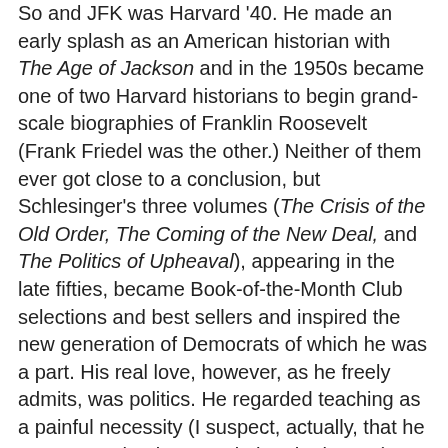So and JFK was Harvard '40. He made an early splash as an American historian with The Age of Jackson and in the 1950s became one of two Harvard historians to begin grand-scale biographies of Franklin Roosevelt (Frank Friedel was the other.) Neither of them ever got close to a conclusion, but Schlesinger's three volumes (The Crisis of the Old Order, The Coming of the New Deal, and The Politics of Upheaval), appearing in the late fifties, became Book-of-the-Month Club selections and best sellers and inspired the new generation of Democrats of which he was a part. His real love, however, as he freely admits, was politics. He regarded teaching as a painful necessity (I suspect, actually, that he was somewhat better at it than he lets on), wrote prolifically (but more effectively, in my opinion, about the present than about the more distant past), and hated academic environments per se. Like Henry Adams--with whom I feel even more in common--he inevitably gravitated to Washington under Kennedy, and thence to New York, where he lived out his last forty years in the midst of literati, glitterati, and politerati. It seems rather fitting, as well as enviable, that he died of a heart attack at a New York restaurant last fall just before reaching the age of 90. (The